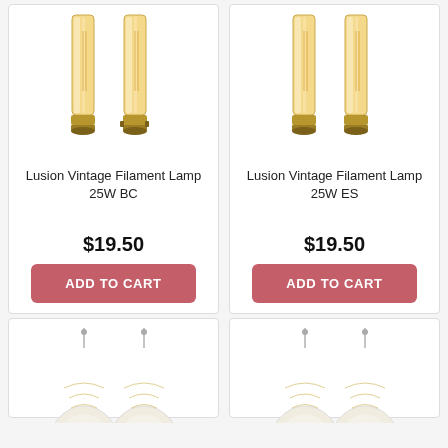[Figure (photo): Two tubular vintage filament light bulbs with golden base - BC fitting]
Lusion Vintage Filament Lamp 25W BC
$19.50
ADD TO CART
[Figure (photo): Two tubular vintage filament light bulbs with golden base - ES fitting]
Lusion Vintage Filament Lamp 25W ES
$19.50
ADD TO CART
[Figure (photo): Two round vintage filament light bulbs - partial view]
[Figure (photo): Two round vintage filament light bulbs - partial view]